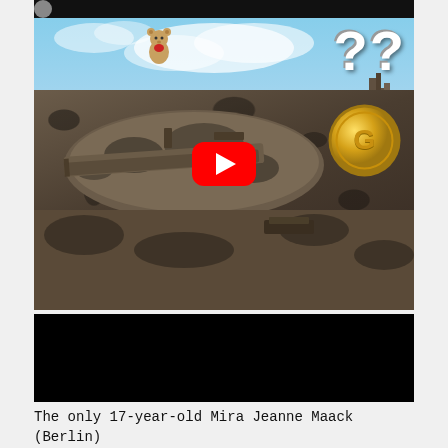[Figure (screenshot): YouTube video thumbnail showing a military tank (camouflage pattern) with a teddy bear on top, question mark overlays in white, a gold coin with G symbol, and a red YouTube play button in center. Background shows European city ruins and blue sky.]
[Figure (screenshot): Black video thumbnail placeholder]
The only 17-year-old Mira Jeanne Maack (Berlin)